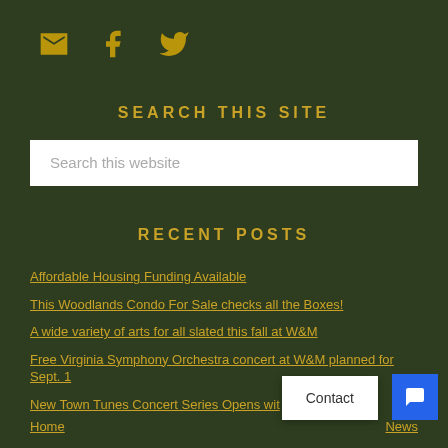[Figure (infographic): Row of three social icons: email (envelope), Facebook (f), Twitter (bird) in gold/dark yellow color]
SEARCH THIS SITE
Search this website
RECENT POSTS
Affordable Housing Funding Available
This Woodlands Condo For Sale checks all the Boxes!
A wide variety of arts for all slated this fall at W&M
Free Virginia Symphony Orchestra concert at W&M planned for Sept. 1
New Town Tunes Concert Series Opens with...ns
Home | News